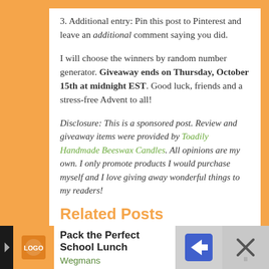3. Additional entry: Pin this post to Pinterest and leave an additional comment saying you did.
I will choose the winners by random number generator. Giveaway ends on Thursday, October 15th at midnight EST. Good luck, friends and a stress-free Advent to all!
Disclosure: This is a sponsored post. Review and giveaway items were provided by Toadily Handmade Beeswax Candles. All opinions are my own. I only promote products I would purchase myself and I love giving away wonderful things to my readers!
Related Posts
[Figure (screenshot): Advertisement banner: Pack the Perfect School Lunch - Wegmans, with a blue navigation arrow icon and an X close button on the right.]